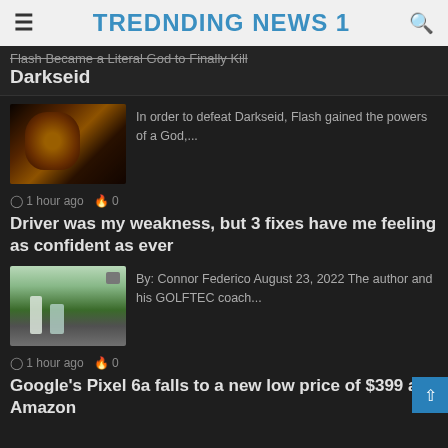TREDNDING NEWS 1
Flash Became a Literal God to Finally Kill Darkseid
[Figure (photo): Image of Darkseid character with dark and orange tones]
In order to defeat Darkseid, Flash gained the powers of a God,...
1 hour ago  0
Driver was my weakness, but 3 fixes have me feeling as confident as ever
[Figure (photo): Photo of a person at a golf training simulator with a coach]
By: Connor Federico August 23, 2022 The author and his GOLFTEC coach...
1 hour ago  0
Google's Pixel 6a falls to a new low price of $399 at Amazon